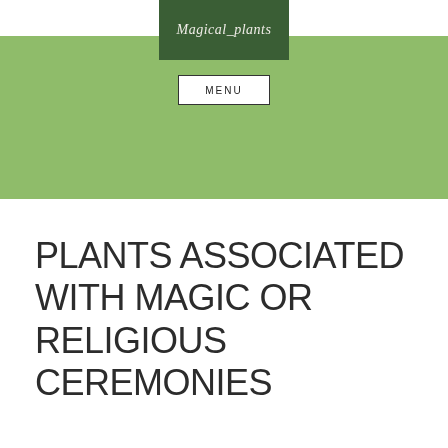Magical_plants
MENU
PLANTS ASSOCIATED WITH MAGIC OR RELIGIOUS CEREMONIES